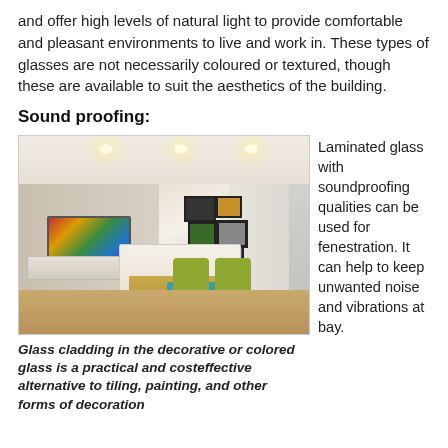and offer high levels of natural light to provide comfortable and pleasant environments to live and work in. These types of glasses are not necessarily coloured or textured, though these are available to suit the aesthetics of the building.
Sound proofing:
[Figure (photo): Interior bedroom photo showing a modern room with wood-panel wall, a large TV mounted on the wall, white bed with golden cover, teal bench, green armchairs, framed artwork, and recessed ceiling lights.]
Glass cladding in the decorative or colored glass is a practical and costeffective alternative to tiling, painting, and other forms of decoration
Laminated glass with soundproofing qualities can be used for fenestration. It can help to keep unwanted noise and vibrations at bay.